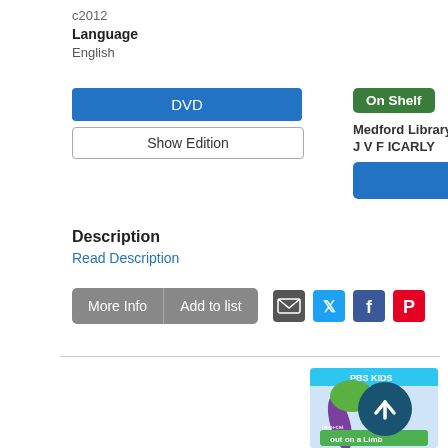c2012
Language
English
DVD
Show Edition
On Shelf
Medford Library Branch  1 available
J V F ICARLY
Place Hold
Description
Read Description
More Info
Add to list
[Figure (illustration): PBS Kids 'Peg + Cat: Out on a Limb' DVD cover showing a cartoon girl climbing a purple tree with the PBS Kids logo at top]
[Figure (other): Scroll to top button - dark teal circle with upward arrow]